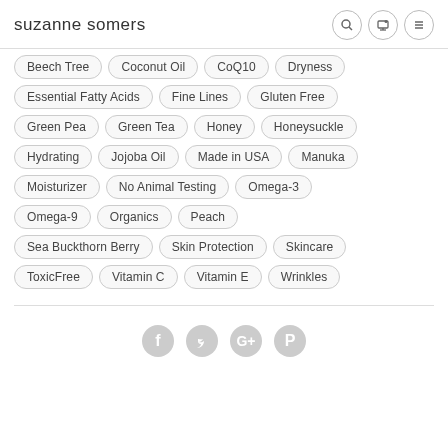suzanne somers
Beech Tree
Coconut Oil
CoQ10
Dryness
Essential Fatty Acids
Fine Lines
Gluten Free
Green Pea
Green Tea
Honey
Honeysuckle
Hydrating
Jojoba Oil
Made in USA
Manuka
Moisturizer
No Animal Testing
Omega-3
Omega-9
Organics
Peach
Sea Buckthorn Berry
Skin Protection
Skincare
ToxicFree
Vitamin C
Vitamin E
Wrinkles
[Figure (other): Social media icons: Facebook, Twitter, Google+, Pinterest]